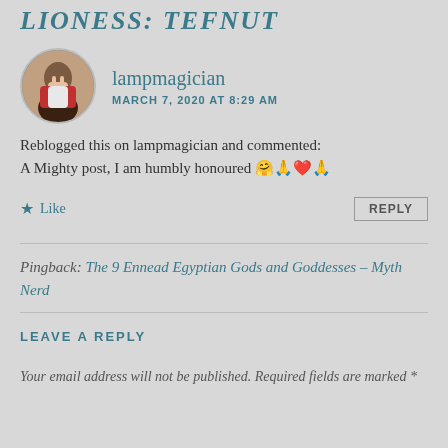LIONESS: TEFNUT
lampmagician
MARCH 7, 2020 AT 8:29 AM
Reblogged this on lampmagician and commented:
A Mighty post, I am humbly honoured 🤗🙏❤️🙏
★ Like    REPLY
Pingback: The 9 Ennead Egyptian Gods and Goddesses – Myth Nerd
LEAVE A REPLY
Your email address will not be published. Required fields are marked *